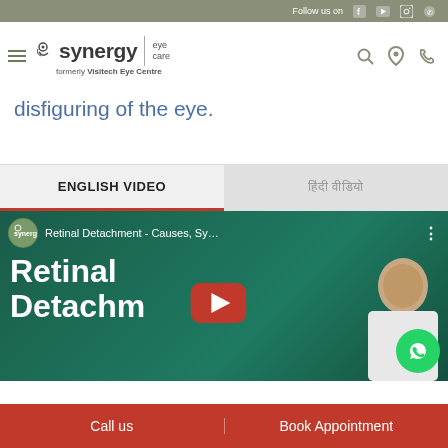Follow us on [social icons]
[Figure (logo): Synergy Eye Care logo, formerly Visitech Eye Centre]
disfiguring of the eye.
ENGLISH VIDEO | हिंदी वीडियो
[Figure (screenshot): YouTube video thumbnail: Retinal Detachment - Causes, Sy... by Synergy Eye Care channel, with a doctor in white coat and large text 'Retinal Detachm...' and YouTube play button overlay]
Call us | Book Appointment